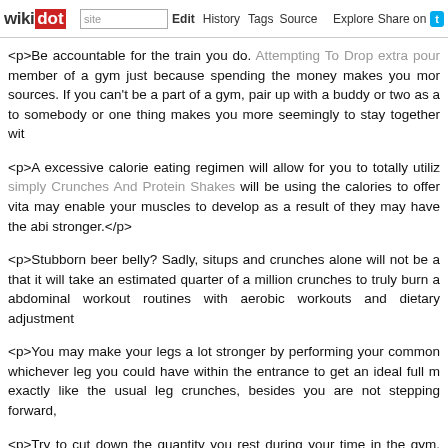wikidot | site | Edit | History | Tags | Source | Explore | Share on Twitter
<p>Be accountable for the train you do. Attempting To Drop extra pounds member of a gym just because spending the money makes you more sources. If you can't be a part of a gym, pair up with a buddy or two as a to somebody or one thing makes you more seemingly to stay together wit
<p>A excessive calorie eating regimen will allow for you to totally utiliz simply Crunches And Protein Shakes will be using the calories to offer vita may enable your muscles to develop as a result of they may have the abi stronger.</p>
<p>Stubborn beer belly? Sadly, situps and crunches alone will not be a that it will take an estimated quarter of a million crunches to truly burn a abdominal workout routines with aerobic workouts and dietary adjustment
<p>You may make your legs a lot stronger by performing your common whichever leg you could have within the entrance to get an ideal full m exactly like the usual leg crunches, besides you are not stepping forward,
<p>Try to cut down the quantity you rest during your time in the gym. Ma to attempt to relaxation less during the start of your workout when your m you possibly can rest more when they are fatigued.</p>
<p>Use the down time in between strength coaching units to do a gentl have been just in use. You should stretch for 20 or 30 seconds. Lose T proven that stretching between sets can enhance muscle strength by reducing chances of injury as well.</p>
<p>It's vital to start encouraging your kids to exercise at an early age. away moderately than ready till they are older. After they're older, they